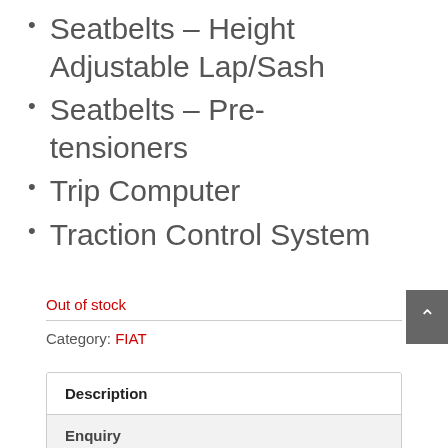Seatbelts – Height Adjustable Lap/Sash
Seatbelts – Pre-tensioners
Trip Computer
Traction Control System
Out of stock
Category: FIAT
| Description | Enquiry |
| --- | --- |